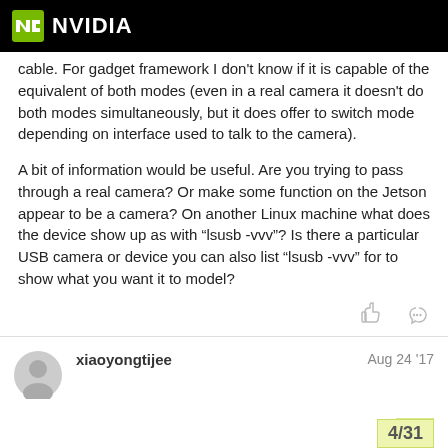NVIDIA
cable. For gadget framework I don't know if it is capable of the equivalent of both modes (even in a real camera it doesn't do both modes simultaneously, but it does offer to switch mode depending on interface used to talk to the camera).
A bit of information would be useful. Are you trying to pass through a real camera? Or make some function on the Jetson appear to be a camera? On another Linux machine what does the device show up as with “lsusb -vvv”? Is there a particular USB camera or device you can also list “lsusb -vvv” for to show what you want it to model?
xiaoyongtijee
Aug 24 '17
4/31